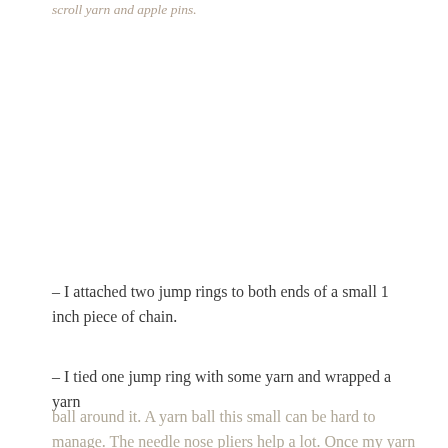scroll yarn and apple pins.
– I attached two jump rings to both ends of a small 1 inch piece of chain.
– I tied one jump ring with some yarn and wrapped a yarn ball around it. A yarn ball this small can be hard to manage. The needle nose pliers help a lot. Once my yarn ball looked